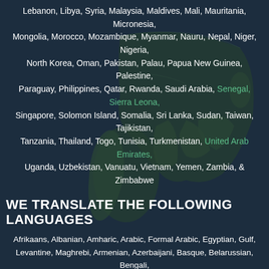[Figure (map): Dark navy/teal world map background showing continents and country borders]
Lebanon, Libya, Syria, Malaysia, Maldives, Mali, Mauritania, Micronesia, Mongolia, Morocco, Mozambique, Myanmar, Nauru, Nepal, Niger, Nigeria, North Korea, Oman, Pakistan, Palau, Papua New Guinea, Palestine, Paraguay, Philippines, Qatar, Rwanda, Saudi Arabia, Senegal, Sierra Leona, Singapore, Solomon Island, Somalia, Sri Lanka, Sudan, Taiwan, Tajikistan, Tanzania, Thailand, Togo, Tunisia, Turkmenistan, United Arab Emirates, Uganda, Uzbekistan, Vanuatu, Vietnam, Yemen, Zambia, & Zimbabwe
WE TRANSLATE THE FOLLOWING LANGUAGES
Afrikaans, Albanian, Amharic, Arabic, Formal Arabic, Egyptian, Gulf, Levantine, Maghrebi, Armenian, Azerbaijani, Basque, Belarussian, Bengali, Bosnian, Bulgarian, Burmese, Catalan, Chinese, Chinese Traditional Mandarin, Chinese Simplified Mandarin, Chinese Cantonese Traditional, Shanghainese, Croatian, Czech, Danish, Dutch, English, Estonian, Finnish, Flemish(Belgian), French, France, Canada, Georgian, German, Greek, Gujarati, Haitian Creole, Hebrew, Hindi, Hungarian, Icelandic, Indonesian, Irish Gaelic, Italian, Japanese, Kannada, Kazakh, Khmer, Korean, Kurdish, Lao, Latvian, Lithuanian, Macedonian, Malay, Malayalam, Maltese, Marathi, Mongolian, Montenegrin, Nepali, Norwegian, Pashto, Persian, Polish,